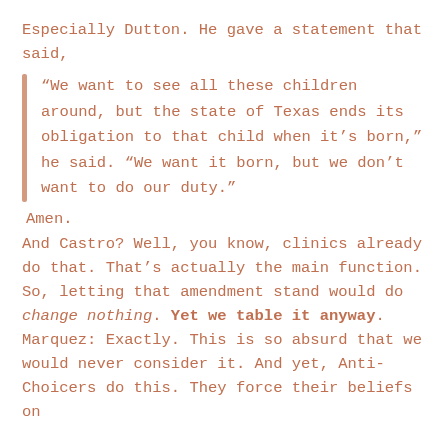Especially Dutton. He gave a statement that said,
“We want to see all these children around, but the state of Texas ends its obligation to that child when it’s born,” he said. “We want it born, but we don’t want to do our duty.”
Amen.
And Castro? Well, you know, clinics already do that. That’s actually the main function. So, letting that amendment stand would do change nothing. Yet we table it anyway. Marquez: Exactly. This is so absurd that we would never consider it. And yet, Anti-Choicers do this. They force their beliefs on